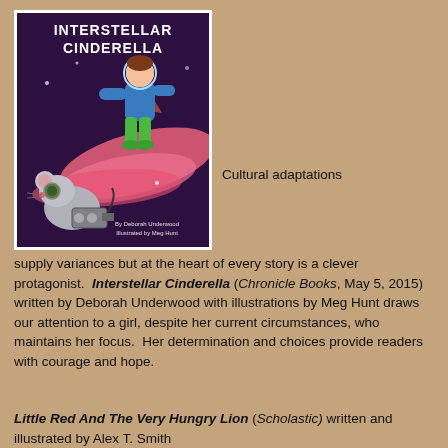[Figure (illustration): Book cover of 'Interstellar Cinderella' showing a girl in a blue spacesuit with green boots running/flying, a mouse with goggles and mechanical equipment below, purple/pink space background. Text: 'INTERSTELLAR CINDERELLA' and 'By Deborah Underwood Illustrated by Meg Hunt']
Cultural adaptations supply variances but at the heart of every story is a clever protagonist. Interstellar Cinderella (Chronicle Books, May 5, 2015) written by Deborah Underwood with illustrations by Meg Hunt draws our attention to a girl, despite her current circumstances, who maintains her focus. Her determination and choices provide readers with courage and hope.
Little Red And The Very Hungry Lion (Scholastic) written and illustrated by Alex T. Smith